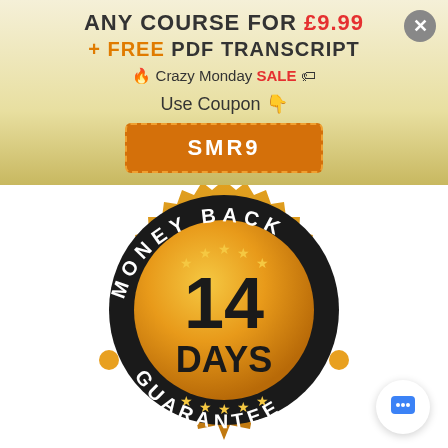ANY COURSE FOR £9.99
+ FREE PDF TRANSCRIPT
🔥 Crazy Monday SALE 🏷
Use Coupon 👇
SMR9
[Figure (illustration): 14-day money back guarantee badge: gold serrated seal with black ring reading MONEY BACK around top, inner gold circle with stars and '14 DAYS' in large bold text, and partial text 'GUARANTEE' at bottom]